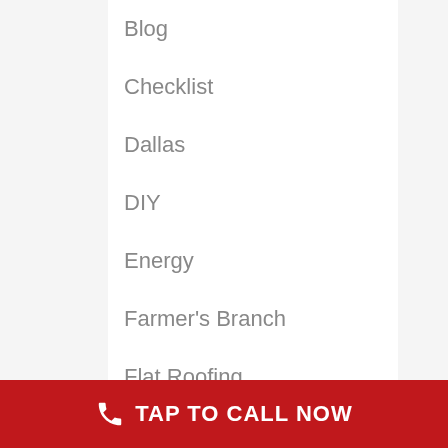Blog
Checklist
Dallas
DIY
Energy
Farmer's Branch
Flat Roofing
Green Roof
Gutters
TAP TO CALL NOW